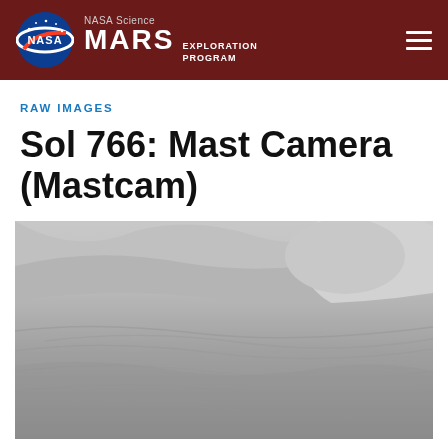NASA Science MARS EXPLORATION PROGRAM
RAW IMAGES
Sol 766: Mast Camera (Mastcam)
[Figure (photo): Grayscale Martian surface image showing sand dunes with ridges and smooth undulating terrain, taken by the Mast Camera (Mastcam) on Sol 766 of the Mars Curiosity rover mission.]